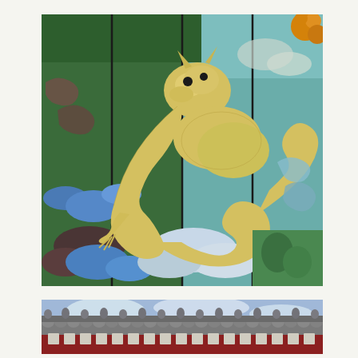[Figure (photo): A large decorative mural or painted screen depicting a golden Chinese dragon on a green and teal background with colorful clouds in blue, white, and brown tones. The painting appears to be on vertical wooden panels separated by dark lines. The dragon is detailed with golden scales, claws, and a fierce face.]
[Figure (photo): A photograph of a traditional Chinese temple or palace roofline with decorative glazed tile eaves, figurines along the ridge, and a blue sky with white clouds in the background. The architecture features dark red walls with white decorative tile panels below the eaves.]